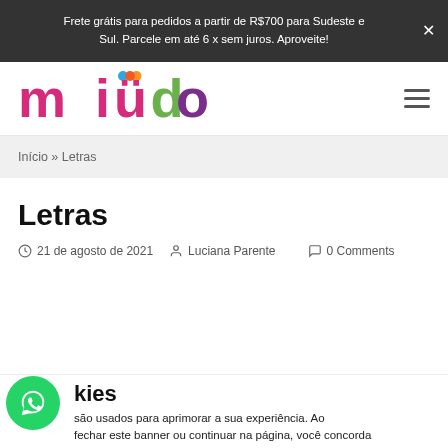Frete grátis para pedidos a partir de R$700 para Sudeste e Sul. Parcele em até 6 x sem juros. Aproveite!
[Figure (logo): Miudo colorful children brand logo]
Início » Letras
Letras
21 de agosto de 2021   Luciana Parente   0 Comments
kies
são usados para aprimorar a sua experiência. Ao fechar este banner ou continuar na página, você concorda